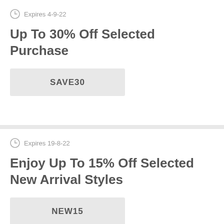Expires 4-9-22
Up To 30% Off Selected Purchase
SAVE30
Expires 19-8-22
Enjoy Up To 15% Off Selected New Arrival Styles
NEW15